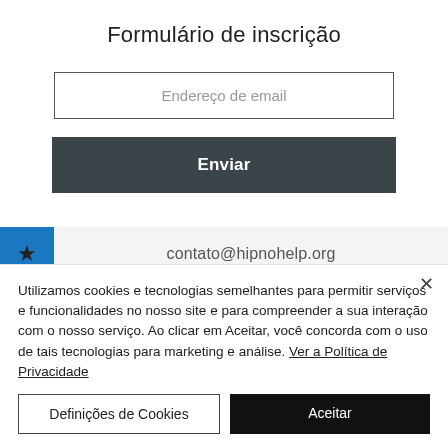Formulário de inscrição
[Figure (screenshot): Email input field with placeholder text 'Endereço de email']
[Figure (screenshot): Dark grey submit button labeled 'Enviar']
contato@hipnohelp.org
Utilizamos cookies e tecnologias semelhantes para permitir serviços e funcionalidades no nosso site e para compreender a sua interação com o nosso serviço. Ao clicar em Aceitar, você concorda com o uso de tais tecnologias para marketing e análise. Ver a Política de Privacidade
Definições de Cookies
Aceitar